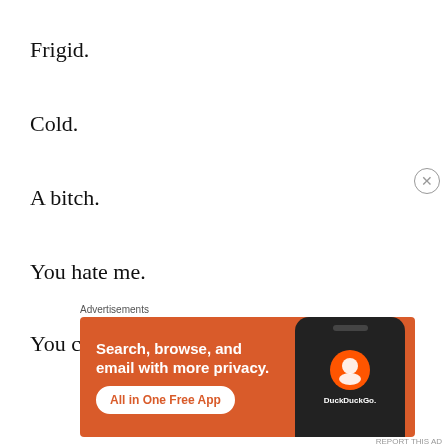Frigid.
Cold.
A bitch.
You hate me.
You can't love me.
[Figure (other): DuckDuckGo advertisement banner with orange background showing phone mockup, text: Search, browse, and email with more privacy. All in One Free App. DuckDuckGo.]